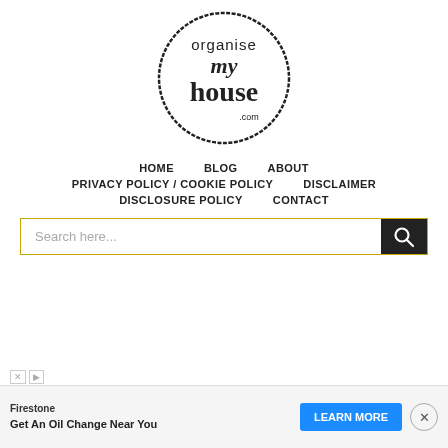[Figure (logo): Organise My House .com logo — circular hand-drawn border with text 'organise my house .com' in mixed typefaces]
HOME   BLOG   ABOUT   PRIVACY POLICY / COOKIE POLICY   DISCLAIMER   DISCLOSURE POLICY   CONTACT
Search here...
[Figure (screenshot): Advertisement banner: Firestone — Get An Oil Change Near You — LEARN MORE button]